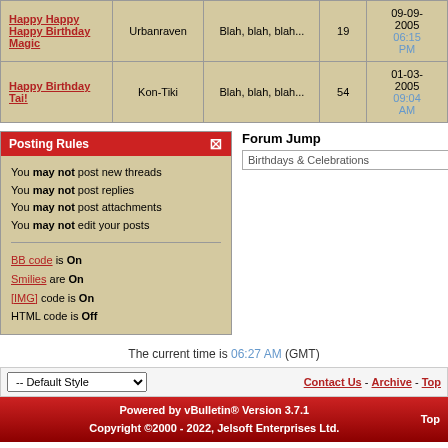| Thread | Author | Last Post | Replies | Date |
| --- | --- | --- | --- | --- |
| Happy Happy Happy Birthday Magic | Urbanraven | Blah, blah, blah... | 19 | 09-09-2005 06:15 PM |
| Happy Birthday Tai! | Kon-Tiki | Blah, blah, blah... | 54 | 01-03-2005 09:04 AM |
Posting Rules
You may not post new threads
You may not post replies
You may not post attachments
You may not edit your posts
BB code is On
Smilies are On
[IMG] code is On
HTML code is Off
Forum Jump
Birthdays & Celebrations
The current time is 06:27 AM (GMT)
-- Default Style
Contact Us - Archive - Top
Powered by vBulletin® Version 3.7.1
Copyright ©2000 - 2022, Jelsoft Enterprises Ltd.
Top